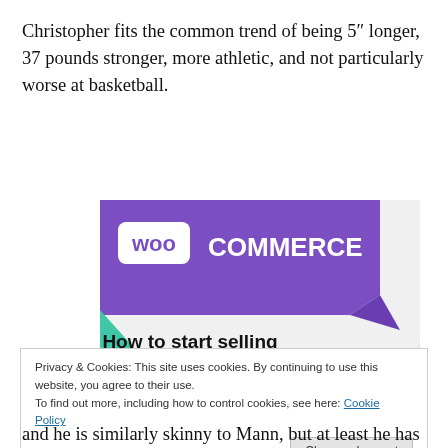Christopher fits the common trend of being 5″ longer, 37 pounds stronger, more athletic, and not particularly worse at basketball.
[Figure (screenshot): WooCommerce promotional image showing a purple banner with 'Woo Commerce' logo, teal and blue geometric shapes, and the text 'How to start selling subscriptions online' on a light gray background.]
Privacy & Cookies: This site uses cookies. By continuing to use this website, you agree to their use.
To find out more, including how to control cookies, see here: Cookie Policy
and he is similarly skinny to Mann, but at least he has